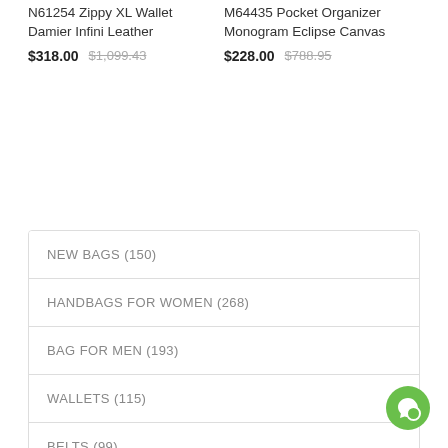N61254 Zippy XL Wallet Damier Infini Leather
$318.00  $1,099.43
M64435 Pocket Organizer Monogram Eclipse Canvas
$228.00  $788.95
NEW BAGS (150)
HANDBAGS FOR WOMEN (268)
BAG FOR MEN (193)
WALLETS (115)
BELTS (99)
TRAVELLING BAG (21)